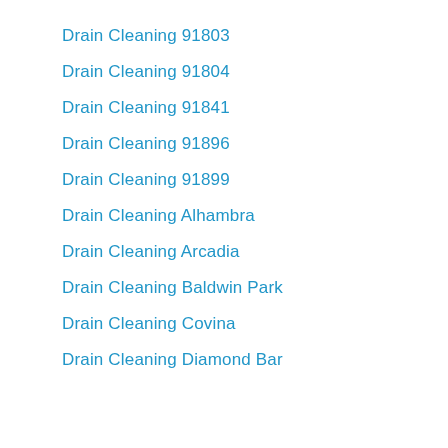Drain Cleaning 91803
Drain Cleaning 91804
Drain Cleaning 91841
Drain Cleaning 91896
Drain Cleaning 91899
Drain Cleaning Alhambra
Drain Cleaning Arcadia
Drain Cleaning Baldwin Park
Drain Cleaning Covina
Drain Cleaning Diamond Bar